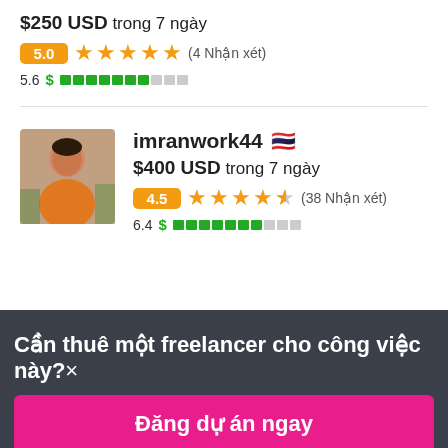$250 USD trong 7 ngày
5.0 ★★★★★ (4 Nhận xét)
5.6 $ ████████░░░
[Figure (photo): Profile photo of a person, partially visible at top]
imranwork44 🇹🇭
$400 USD trong 7 ngày
4.5 ★★★★½ (38 Nhận xét)
6.4 $ ████████░░░
Cần thuê một freelancer cho công việc này?×
Đăng dự án ngay